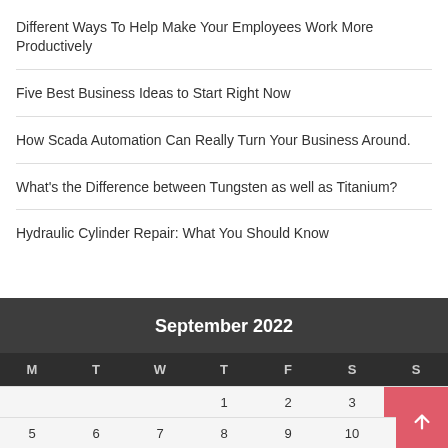Different Ways To Help Make Your Employees Work More Productively
Five Best Business Ideas to Start Right Now
How Scada Automation Can Really Turn Your Business Around.
What's the Difference between Tungsten as well as Titanium?
Hydraulic Cylinder Repair: What You Should Know
| M | T | W | T | F | S | S |
| --- | --- | --- | --- | --- | --- | --- |
|  |  |  | 1 | 2 | 3 | 4 |
| 5 | 6 | 7 | 8 | 9 | 10 | 11 |